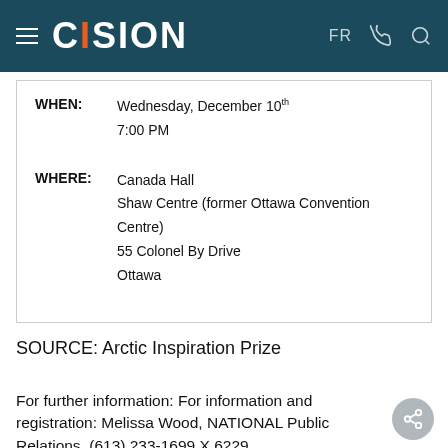CISION — FR
| WHEN: | Wednesday, December 10th
7:00 PM |
| WHERE: | Canada Hall
Shaw Centre (former Ottawa Convention Centre)
55 Colonel By Drive
Ottawa |
SOURCE: Arctic Inspiration Prize
For further information: For information and registration: Melissa Wood, NATIONAL Public Relations, (613) 233-1699 X 6229, mwood@national.ca